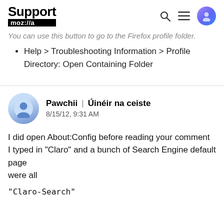Support mozilla // a
You can use this button to go to the Firefox profile folder.
Help > Troubleshooting Information > Profile Directory: Open Containing Folder
Pawchii | Úinéir na ceiste
8/15/12, 9:31 AM
I did open About:Config before reading your comment I typed in "Claro" and a bunch of Search Engine default page were all
"Claro-Search"